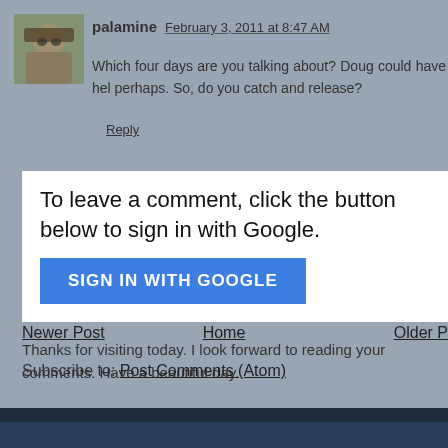[Figure (photo): Avatar photo of a person wearing a hat and sunglasses outdoors]
palamine   February 3, 2011 at 8:47 AM
Which four days are you talking about? Doug could have helped perhaps. So, do you catch and release?
Reply
To leave a comment, click the button below to sign in with Google.
SIGN IN WITH GOOGLE
Thanks for visiting today. I look forward to reading your comments. Have a beautiful day.
Newer Post
Home
Older P
Subscribe to: Post Comments (Atom)